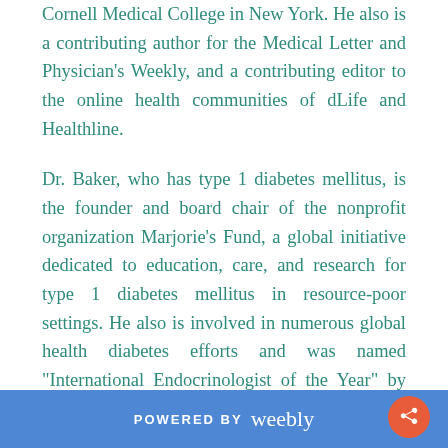Cornell Medical College in New York. He also is a contributing author for the Medical Letter and Physician's Weekly, and a contributing editor to the online health communities of dLife and Healthline.

Dr. Baker, who has type 1 diabetes mellitus, is the founder and board chair of the nonprofit organization Marjorie's Fund, a global initiative dedicated to education, care, and research for type 1 diabetes mellitus in resource-poor settings. He also is involved in numerous global health diabetes efforts and was named "International Endocrinologist of the Year" by the Metro New York Association of Diabetes Educators. He was also included in the October 2013 "People to Know" edition of Diabetes Forecast, a publication of the American Diabetes Association, and received the Humanitarian Award from the Diabetes
POWERED BY weebly